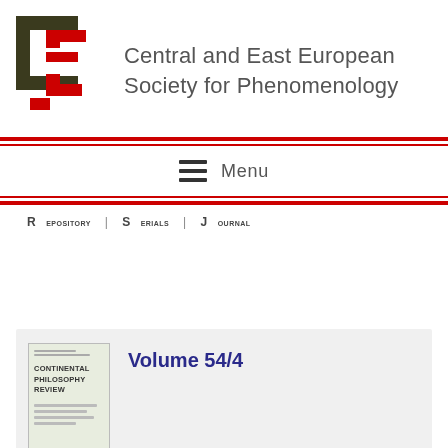Central and East European Society for Phenomenology
Menu
Repository | Serials | Journal
Volume 54/4